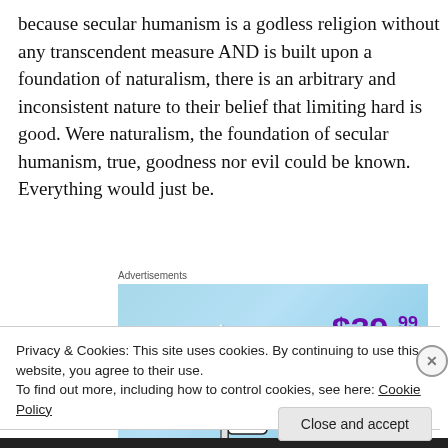because secular humanism is a godless religion without any transcendent measure AND is built upon a foundation of naturalism, there is an arbitrary and inconsistent nature to their belief that limiting hard is good. Were naturalism, the foundation of secular humanism, true, goodness nor evil could be known. Everything would just be.
Advertisements
[Figure (illustration): Advertisement banner: 'Works on the App Too!' with $39.99 a year or $4.99 a month + Free Shipping offer on a blue gradient background with stars and thumb icons]
Privacy & Cookies: This site uses cookies. By continuing to use this website, you agree to their use.
To find out more, including how to control cookies, see here: Cookie Policy
Close and accept